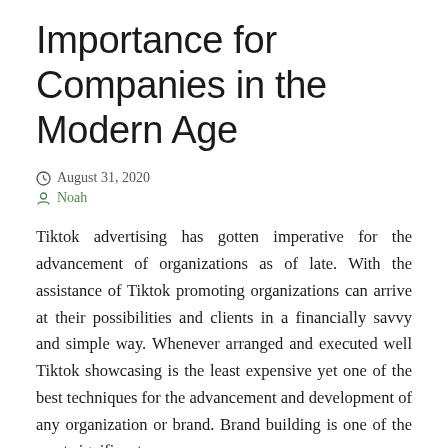Importance for Companies in the Modern Age
August 31, 2020
Noah
Tiktok advertising has gotten imperative for the advancement of organizations as of late. With the assistance of Tiktok promoting organizations can arrive at their possibilities and clients in a financially savvy and simple way. Whenever arranged and executed well Tiktok showcasing is the least expensive yet one of the best techniques for the advancement and development of any organization or brand. Brand building is one of the most significant